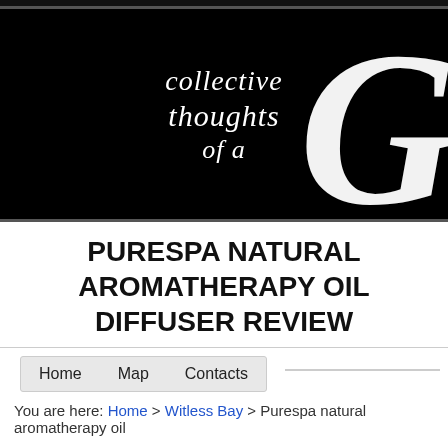[Figure (logo): Black banner header with calligraphic italic white text reading 'collective thoughts of a' and a large decorative 'G' letter on the right side]
PURESPA NATURAL AROMATHERAPY OIL DIFFUSER REVIEW
Home   Map   Contacts
You are here: Home > Witless Bay > Purespa natural aromatherapy oil